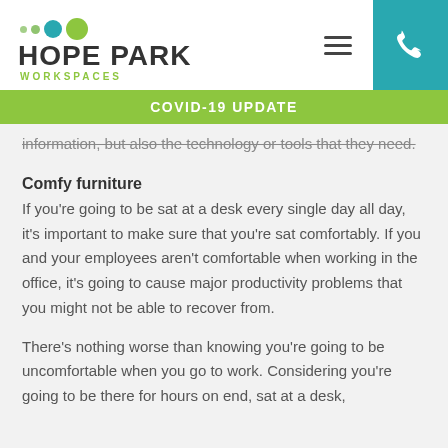HOPE PARK WORKSPACES
COVID-19 UPDATE
information, but also the technology or tools that they need.
Comfy furniture
If you’re going to be sat at a desk every single day all day, it’s important to make sure that you’re sat comfortably. If you and your employees aren’t comfortable when working in the office, it’s going to cause major productivity problems that you might not be able to recover from.
There’s nothing worse than knowing you’re going to be uncomfortable when you go to work. Considering you’re going to be there for hours on end, sat at a desk,